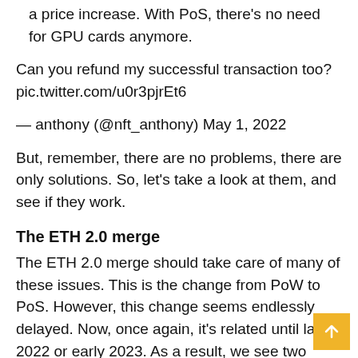a price increase. With PoS, there's no need for GPU cards anymore.
Can you refund my successful transaction too? pic.twitter.com/u0r3pjrEt6
— anthony (@nft_anthony) May 1, 2022
But, remember, there are no problems, there are only solutions. So, let's take a look at them, and see if they work.
The ETH 2.0 merge
The ETH 2.0 merge should take care of many of these issues. This is the change from PoW to PoS. However, this change seems endlessly delayed. Now, once again, it's related until late 2022 or early 2023. As a result, we see two major things happening.